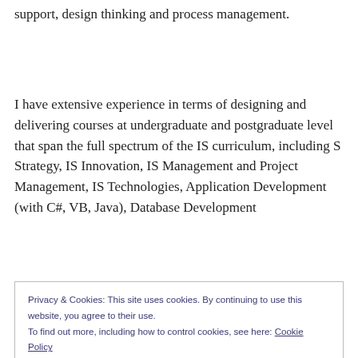support, design thinking and process management.
I have extensive experience in terms of designing and delivering courses at undergraduate and postgraduate level that span the full spectrum of the IS curriculum, including S Strategy, IS Innovation, IS Management and Project Management, IS Technologies, Application Development (with C#, VB, Java), Database Development
Privacy & Cookies: This site uses cookies. By continuing to use this website, you agree to their use.
To find out more, including how to control cookies, see here: Cookie Policy
research at NUI Galway. I am currently completing an MA